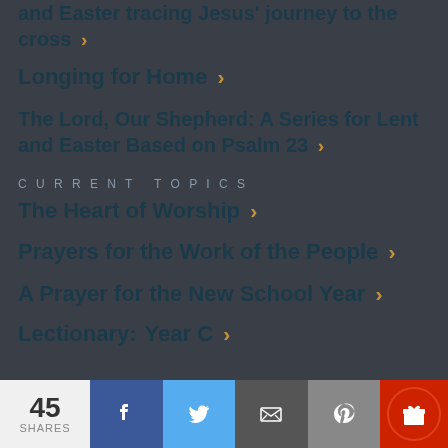and Easter tracing Jesus' journey to the cross
Longing for Home
The Lord, Our Shepherd: A Series for Lent and Easter Based on Psalm 23
CURRENT TOPICS
The Heart of Worship
Prayers for the Work of the People
A Prayer for the New School Year
Lectionary: Year C
45 SHARES